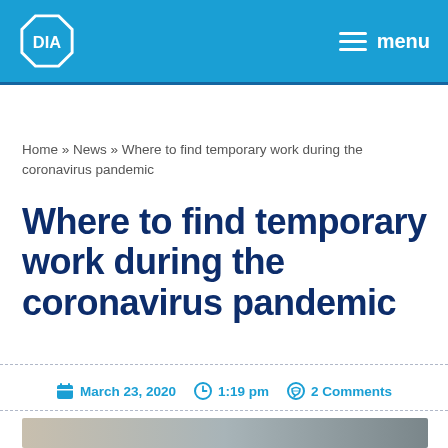DIA — menu
Home » News » Where to find temporary work during the coronavirus pandemic
Where to find temporary work during the coronavirus pandemic
March 23, 2020   1:19 pm   2 Comments
[Figure (photo): Partial view of a person in a car or office setting, article thumbnail image]